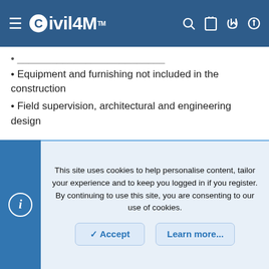Civil4M
Equipment and furnishing not included in the construction
Field supervision, architectural and engineering design
6) List out some of the software used in the construction sector to estimate cost and monitoring expenses?
Tally System
Sage
Maxwell System
Premier construction software
This site uses cookies to help personalise content, tailor your experience and to keep you logged in if you register.
By continuing to use this site, you are consenting to our use of cookies.